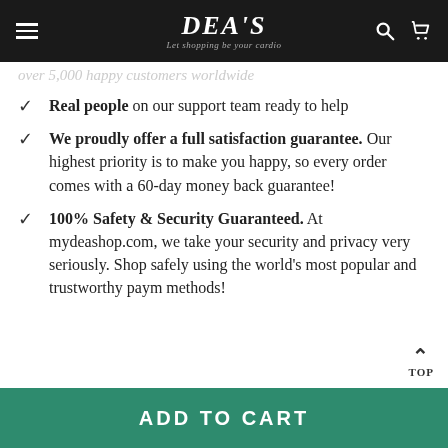DEA'S - Let shopping be your cardio
...over 5,000 happy customers worldwide
Real people on our support team ready to help
We proudly offer a full satisfaction guarantee. Our highest priority is to make you happy, so every order comes with a 60-day money back guarantee!
100% Safety & Security Guaranteed. At mydeashop.com, we take your security and privacy very seriously. Shop safely using the world's most popular and trustworthy payment methods!
ADD TO CART